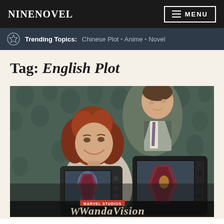NINENOVEL    MENU
Trending Topics: Chinese Plot • Anime • Novel
Tag: English Plot
[Figure (photo): WandaVision promotional poster showing a woman with red curly hair and a man in a suit smiling at each other, with old-style TV sets in the foreground displaying superhero imagery, and 'MARVEL STUDIOS WandaVision' text at the bottom, against a floral wallpaper background.]